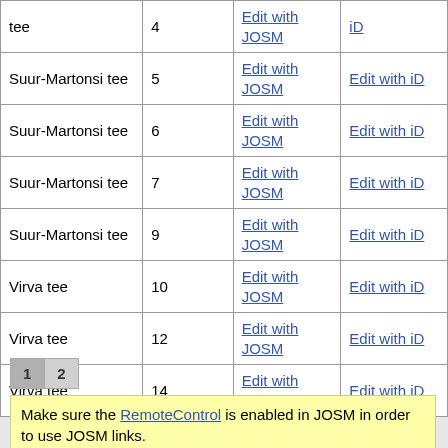| tee | 4 | Edit with JOSM | iD |
| Suur-Martonsi tee | 5 | Edit with JOSM | Edit with iD |
| Suur-Martonsi tee | 6 | Edit with JOSM | Edit with iD |
| Suur-Martonsi tee | 7 | Edit with JOSM | Edit with iD |
| Suur-Martonsi tee | 9 | Edit with JOSM | Edit with iD |
| Virva tee | 10 | Edit with JOSM | Edit with iD |
| Virva tee | 12 | Edit with JOSM | Edit with iD |
| Virva tee | 14 | Edit with JOSM | Edit with iD |
1 2
Make sure the RemoteControl is enabled in JOSM in order to use JOSM links.